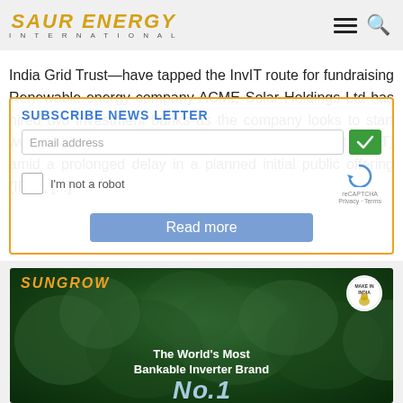SAUR ENERGY INTERNATIONAL
India Grid Trust—have tapped the InvIT route for fundraising Renewable energy company ACME Solar Holdings Ltd has hired two investment banks as the company looks to start work on its proposed infrastructure investment trust (InvIT) amid a prolonged delay in a planned initial public offering (IPO), [...]
[Figure (screenshot): Subscribe Newsletter overlay with email input, reCAPTCHA checkbox, and Read more button]
[Figure (photo): Sungrow advertisement banner showing aerial forest view with text 'The World's Most Bankable Inverter Brand No.1' and Make in India badge]